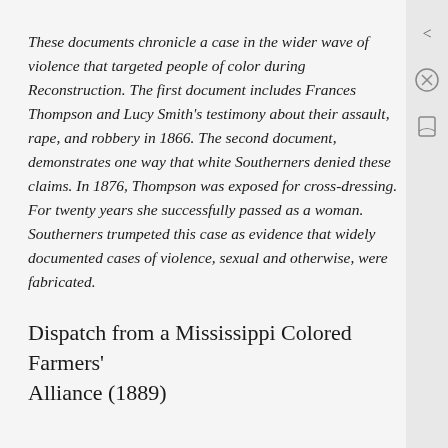These documents chronicle a case in the wider wave of violence that targeted people of color during Reconstruction. The first document includes Frances Thompson and Lucy Smith's testimony about their assault, rape, and robbery in 1866. The second document, demonstrates one way that white Southerners denied these claims. In 1876, Thompson was exposed for cross-dressing. For twenty years she successfully passed as a woman. Southerners trumpeted this case as evidence that widely documented cases of violence, sexual and otherwise, were fabricated.
Dispatch from a Mississippi Colored Farmers' Alliance (1889)